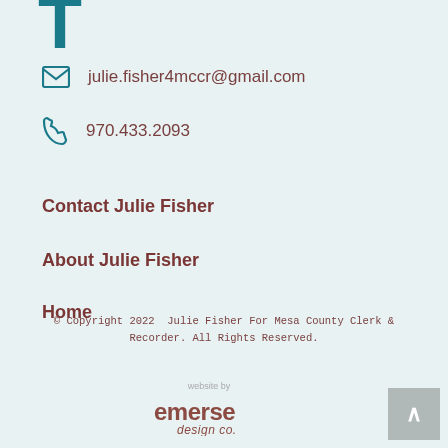[Figure (other): Large teal letter T icon at top left, partial view]
julie.fisher4mccr@gmail.com
970.433.2093
Contact Julie Fisher
About Julie Fisher
Home
© Copyright 2022  Julie Fisher For Mesa County Clerk & Recorder. All Rights Reserved.
[Figure (logo): Emerse Design Co logo with 'website by' text above it]